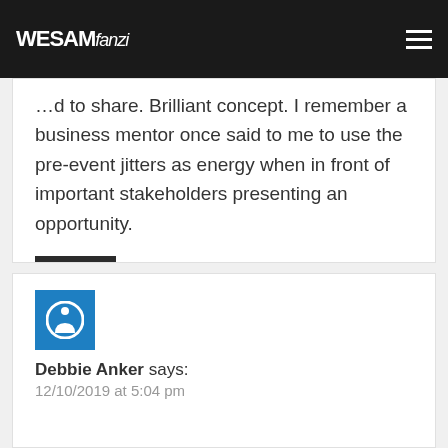WESAM fanzi
…d to share. Brilliant concept. I remember a business mentor once said to me to use the pre-event jitters as energy when in front of important stakeholders presenting an opportunity.
Reply
Debbie Anker says: 12/10/2019 at 5:04 pm